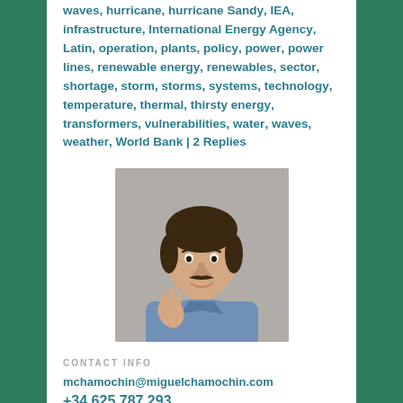waves, hurricane, hurricane Sandy, IEA, infrastructure, International Energy Agency, Latin, operation, plants, policy, power, power lines, renewable energy, renewables, sector, shortage, storm, storms, systems, technology, temperature, thermal, thirsty energy, transformers, vulnerabilities, water, waves, weather, World Bank | 2 Replies
[Figure (photo): Portrait photo of a smiling man with dark hair and mustache wearing a denim shirt, making a gesture with his hand]
CONTACT INFO
mchamochin@miguelchamochin.com
+34 625 787 293
FOLLOW ME ON TWITTER
My Tweets